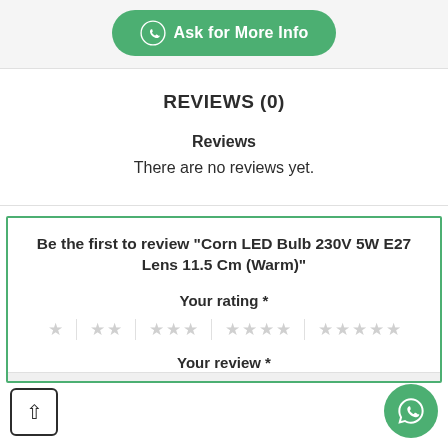[Figure (other): Green WhatsApp button with phone icon and text 'Ask for More Info']
REVIEWS (0)
Reviews
There are no reviews yet.
Be the first to review “Corn LED Bulb 230V 5W E27 Lens 11.5 Cm (Warm)”
Your rating *
[Figure (other): Star rating selector with 5 groups of 1 to 5 stars, all empty/grey]
Your review *
[Figure (other): Floating green WhatsApp circular button with phone icon]
[Figure (other): Back to top button: white square with up chevron]